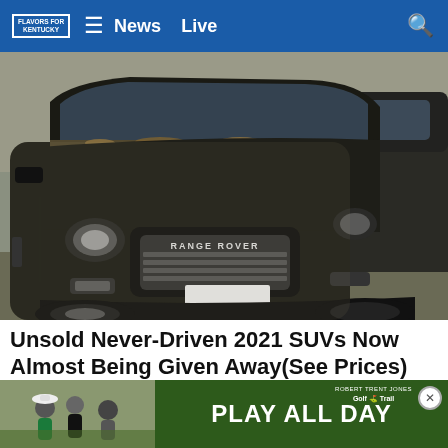FLAVORS FOR KENTUCKY | News  Live
[Figure (photo): Two dirty dusty black Range Rover / luxury SUVs parked side by side, seen from front angle. The vehicles are covered in dust and dirt, with leaves accumulated on the hood. 'RANGE ROVER' lettering visible on the front grille of the closer vehicle.]
Unsold Never-Driven 2021 SUVs Now Almost Being Given Away(See Prices)
SUV | Search Ads | Sponsored
[Figure (photo): Advertisement banner: left side shows people at what appears to be a golf event; right side has dark green background with 'PLAY ALL DAY' in large white text and the Robert Trent Jones Golf Trail logo.]